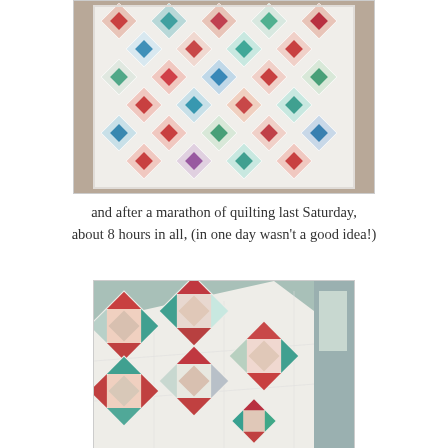[Figure (photo): A quilt laid out flat on a surface, showing a diamond/square pattern with red, teal, and floral fabrics on a white background. The quilt is spread out and photographed from above.]
and after a marathon of quilting last Saturday, about 8 hours in all, (in one day wasn't a good idea!)
[Figure (photo): A close-up photo of a quilted blanket draped over what appears to be a bed or furniture, showing the quilted stitching and the same diamond pattern blocks in red, teal, and floral fabrics on white.]